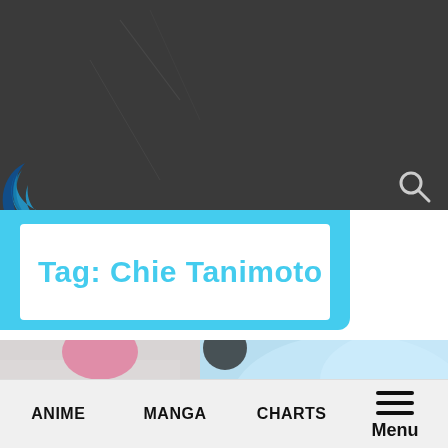[Figure (screenshot): Dark gray website header with a blue swirl logo on the left and a search icon on the right]
Tag: Chie Tanimoto
[Figure (photo): Anime illustration showing characters with Japanese text overlay, light blue and gray tones]
ANIME   MANGA   CHARTS   Menu